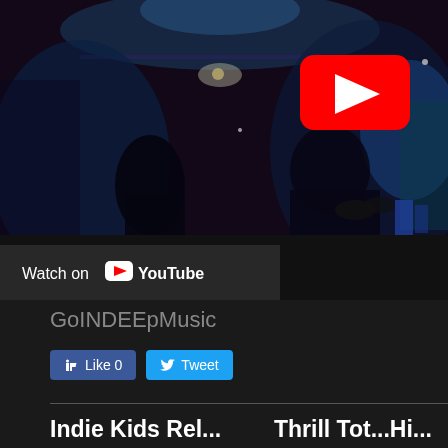[Figure (screenshot): YouTube video thumbnail showing a dark concert/music performance scene with blue stage lighting, musicians on stage, and a large red YouTube play button in the upper right. Below the video is a 'Watch on YouTube' bar.]
GoINDEEpMusic
Like 0  Tweet
Indie Kids Rel...   Thrill Tot...Hi...